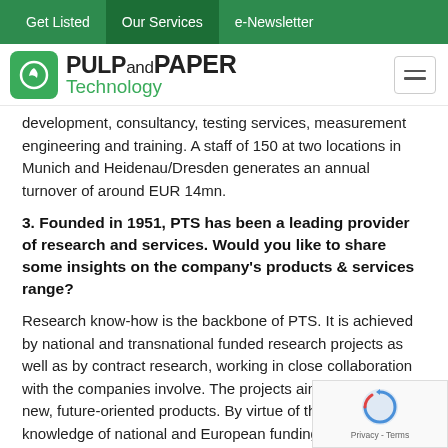Get Listed  Our Services  e-Newsletter
[Figure (logo): Pulp and Paper Technology logo with green leaf icon]
development, consultancy, testing services, measurement engineering and training. A staff of 150 at two locations in Munich and Heidenau/Dresden generates an annual turnover of around EUR 14mn.
3. Founded in 1951, PTS has been a leading provider of research and services. Would you like to share some insights on the company's products & services range?
Research know-how is the backbone of PTS. It is achieved by national and transnational funded research projects as well as by contract research, working in close collaboration with the companies involve. The projects aim to develop new, future-oriented products. By virtue of their outstanding knowledge of national and European funding programs, development projects can be conducted in a particularly economical and cost-effective manner. The knowledge is then transferred to industry via consultancy